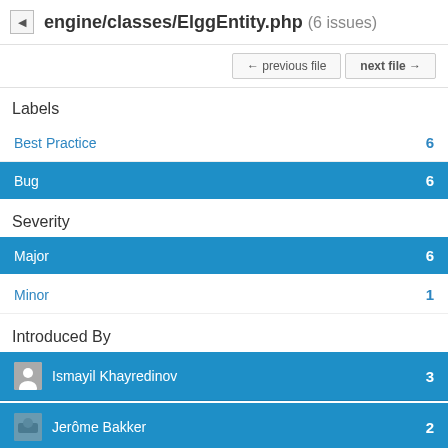engine/classes/ElggEntity.php (6 issues)
← previous file
next file →
Labels
Best Practice 6
Bug 6
Severity
Major 6
Minor 1
Introduced By
Ismayil Khayredinov 3
Jerôme Bakker 2